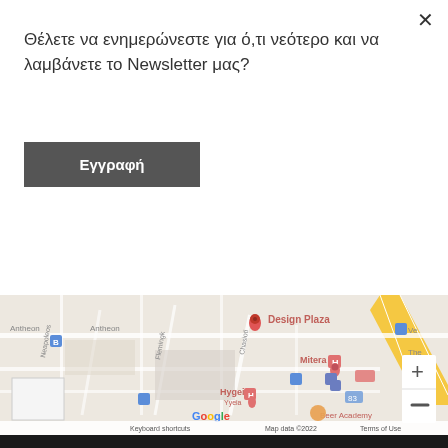Θέλετε να ενημερώνεστε για ό,τι νεότερο και να λαμβάνετε το Newsletter μας?
Εγγραφή
[Figure (map): Google Maps screenshot showing area around Design Plaza in Athens, Greece. Map shows streets including Antheon, Neapoleos, Flemingk, Chasioti roads, and landmarks Mitera (hospital), Hygeia hospital, Design Plaza marker (red pin), and Beer Academy. Zoom controls visible on the right. Map data ©2022. Bottom bar shows: Keyboard shortcuts, Map data ©2022, Terms of Use.]